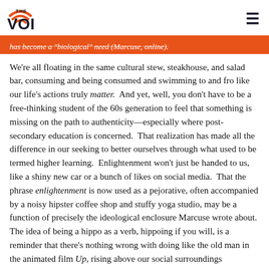THE VOICE
has become a "biological" need (Marcuse, online).
We're all floating in the same cultural stew, steakhouse, and salad bar, consuming and being consumed and swimming to and fro like our life's actions truly matter.  And yet, well, you don't have to be a free-thinking student of the 60s generation to feel that something is missing on the path to authenticity—especially where post-secondary education is concerned.  That realization has made all the difference in our seeking to better ourselves through what used to be termed higher learning.  Enlightenment won't just be handed to us, like a shiny new car or a bunch of likes on social media.  That the phrase enlightenment is now used as a pejorative, often accompanied by a noisy hipster coffee shop and stuffy yoga studio, may be a function of precisely the ideological enclosure Marcuse wrote about.  The idea of being a hippo as a verb, hippoing if you will, is a reminder that there's nothing wrong with doing like the old man in the animated film Up, rising above our social surroundings